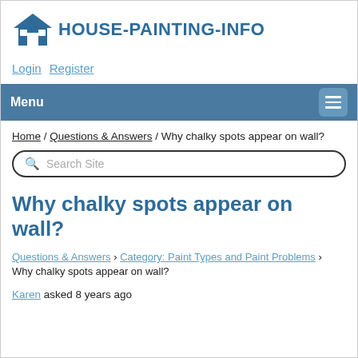[Figure (logo): House-Painting-Info logo with a house icon and text HOUSE-PAINTING-INFO in bold dark blue]
Login   Register
Menu
Home / Questions & Answers / Why chalky spots appear on wall?
Search Site
Why chalky spots appear on wall?
Questions & Answers › Category: Paint Types and Paint Problems › Why chalky spots appear on wall?
Karen asked 8 years ago